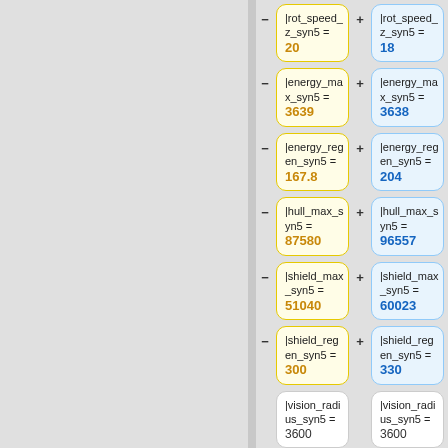|rot_speed_z_syn5 = 20 (yellow) | |rot_speed_z_syn5 = 18 (blue)
|energy_max_syn5 = 3639 (yellow) | |energy_max_syn5 = 3638 (blue)
|energy_regen_syn5 = 167.8 (yellow) | |energy_regen_syn5 = 204 (blue)
|hull_max_syn5 = 87580 (yellow) | |hull_max_syn5 = 96557 (blue)
|shield_max_syn5 = 51040 (yellow) | |shield_max_syn5 = 60023 (blue)
|shield_regen_syn5 = 300 (yellow) | |shield_regen_syn5 = 330 (blue)
|vision_radius_syn5 = 3600 | |vision_radius_syn5 = 3600